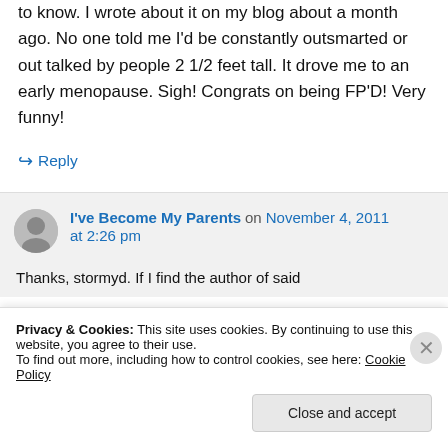to know. I wrote about it on my blog about a month ago. No one told me I'd be constantly outsmarted or out talked by people 2 1/2 feet tall. It drove me to an early menopause. Sigh! Congrats on being FP'D! Very funny!
↳ Reply
I've Become My Parents on November 4, 2011 at 2:26 pm
Thanks, stormyd. If I find the author of said
Privacy & Cookies: This site uses cookies. By continuing to use this website, you agree to their use. To find out more, including how to control cookies, see here: Cookie Policy
Close and accept